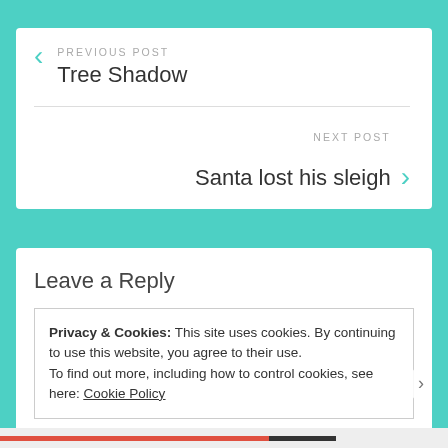PREVIOUS POST
Tree Shadow
NEXT POST
Santa lost his sleigh
Leave a Reply
Privacy & Cookies: This site uses cookies. By continuing to use this website, you agree to their use.
To find out more, including how to control cookies, see here: Cookie Policy
Close and accept